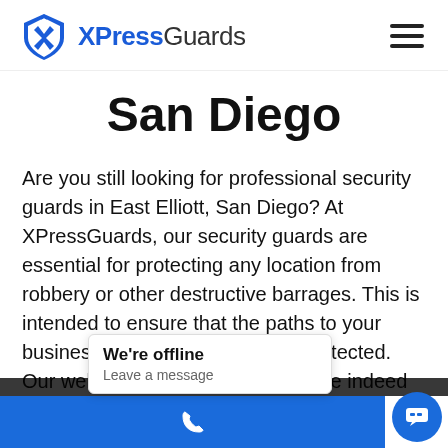[Figure (logo): XPressGuards logo with blue shield and X icon, followed by text 'XPressGuards' in blue and black]
San Diego
Are you still looking for professional security guards in East Elliott, San Diego? At XPressGuards, our security guards are essential for protecting any location from robbery or other destructive barrages. This is intended to ensure that the paths to your business or home are safe and protected. Our well-trained security officers are indeed capable of responding to extraordinary situations, provide adequate support and assistance